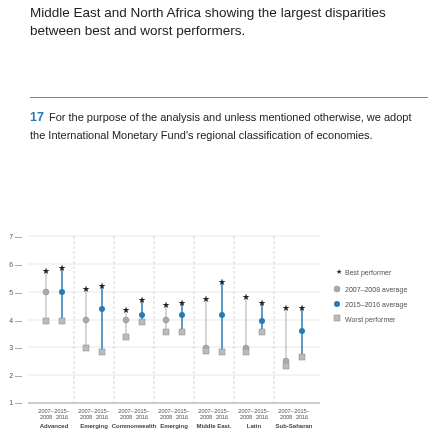Middle East and North Africa showing the largest disparities between best and worst performers.
17  For the purpose of the analysis and unless mentioned otherwise, we adopt the International Monetary Fund's regional classification of economies.
Figure 8: Distribution of GCI scores
[Figure (scatter-plot): Distribution of GCI scores by region showing best performer (star), 2007-2008 average (grey dot), 2015-2016 average (blue dot), and worst performer (grey square). Regions: Advanced, Emerging, Commonwealth, Emerging, Middle East, Latin, Sub-Saharan. Y-axis from 1 to 7.]